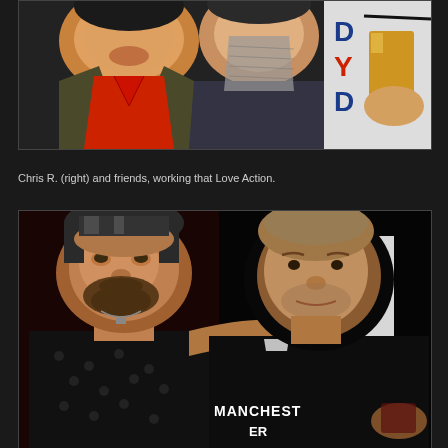[Figure (photo): Photo of people at a social event or bar. Person on left wearing red shirt and olive jacket, person in center wearing dark jacket with grey scarf, person on right holding a glass of amber beverage and wearing a white shirt with letters visible.]
Chris R. (right) and friends, working that Love Action.
[Figure (photo): Photo of two men posing together at a bar or club. Older man on left with beard wearing dark patterned shirt, younger man on right with shaved head wearing black Manchester shirt, arm around the other person. A white banner is visible in the background.]